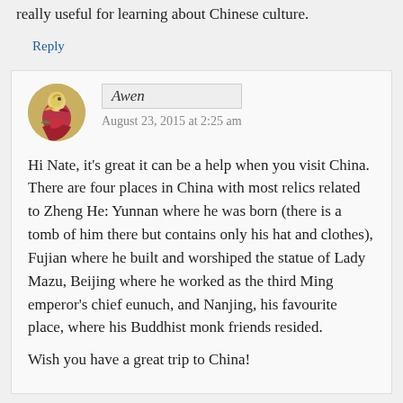really useful for learning about Chinese culture.
Reply
Awen
August 23, 2015 at 2:25 am
Hi Nate, it's great it can be a help when you visit China. There are four places in China with most relics related to Zheng He: Yunnan where he was born (there is a tomb of him there but contains only his hat and clothes), Fujian where he built and worshiped the statue of Lady Mazu, Beijing where he worked as the third Ming emperor's chief eunuch, and Nanjing, his favourite place, where his Buddhist monk friends resided.
Wish you have a great trip to China!